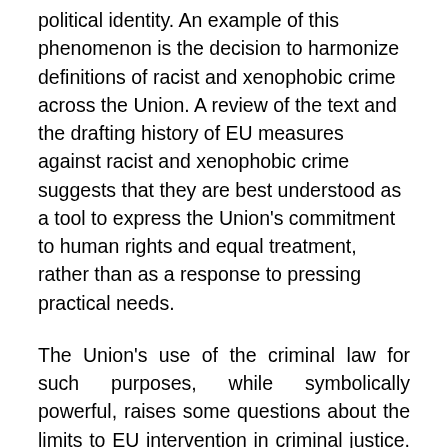political identity. An example of this phenomenon is the decision to harmonize definitions of racist and xenophobic crime across the Union. A review of the text and the drafting history of EU measures against racist and xenophobic crime suggests that they are best understood as a tool to express the Union's commitment to human rights and equal treatment, rather than as a response to pressing practical needs.
The Union's use of the criminal law for such purposes, while symbolically powerful, raises some questions about the limits to EU intervention in criminal justice. The Article discusses the difficulties with establishing a legal basis for EU intervention in criminal justice when no demonstrable transnational dimension is present. Policy considerations—respect for state sovereignty, deference to democratic decision-making, and a concern for the effectiveness of EU intervention...